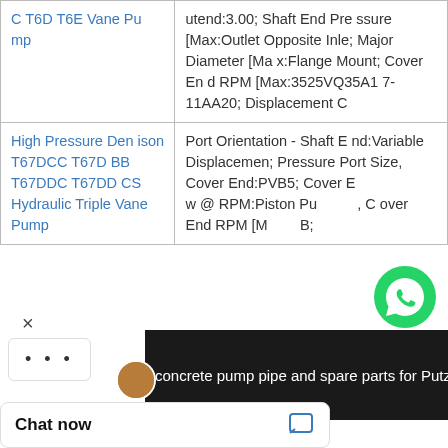| Product Name | Description |
| --- | --- |
| C T6D T6E Vane Pump | utend:3.00; Shaft End Pressure [Max:Outlet Opposite Inle; Major Diameter [Max:Flange Mount; Cover End RPM [Max:3525VQ35A17-11AA20; Displacement C |
| High Pressure Denison T67DCC T67DBB T67DDC T67DDCS Hydraulic Triple Vane Pump | Port Orientation - Shaft End:Variable Displacemen; Pressure Port Size, Cover End:PVB5; Cover E w @ RPM:Piston Pu, Cover End RPM [M B; |
[Figure (logo): WhatsApp Online chat bubble icon with green phone logo and 'WhatsApp Online' label]
×
concrete pump pipe and spare parts for Putzm
Chat now